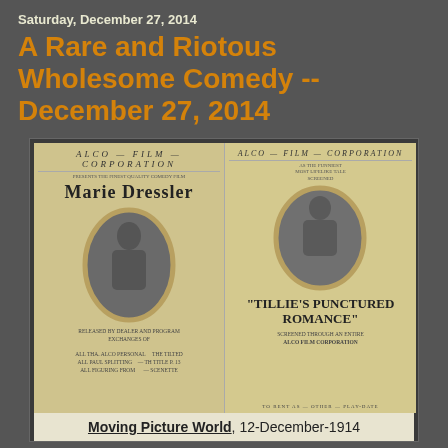Saturday, December 27, 2014
A Rare and Riotous Wholesome Comedy -- December 27, 2014
[Figure (photo): Vintage advertisement for 'Tillie's Punctured Romance' from Moving Picture World, 12-December-1914, featuring Marie Dressler. The ad shows two oval portrait frames on an open magazine spread, with 'ALCO FILM CORPORATION' text and the movie title prominently displayed.]
Moving Picture World, 12-December-1914
Some sources claim that Tillie's Punctured Romance is the first feature-length slapstick comedy, or even the first feature-length comedy. I don't know if that is true, but it is certainly the first one to be a big success, despite being advertised by the ALCO Film Corporation, which released the movie, with taglines like "The First Successful Picturizing